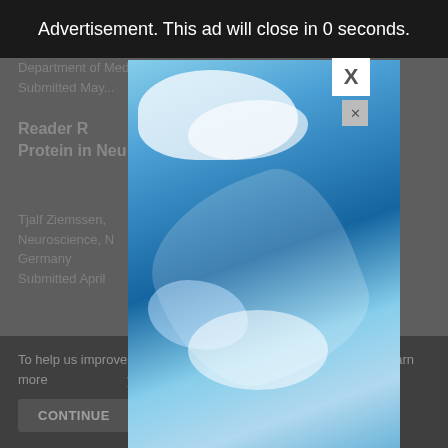Advertisement. This ad will close in 0 seconds.
Department of Medicine and Surgery, University of Perugia (Italy)
Submitted May...
Reader R... ...ve Protein in Neu... ...s for Use
Tjalf Ziemssen, ...r of Clinical Neuroscience, N... ...Dresden, Germany
Submitted April ...
COMMENT...
[Figure (photo): Sky photo with blue sky and white clouds shown inside a modal advertisement overlay]
To help us improve y... ...his website uses cookies. Learn more... ...your settings in our Cookie Policy. You ca...
CONTINUE    FIND...